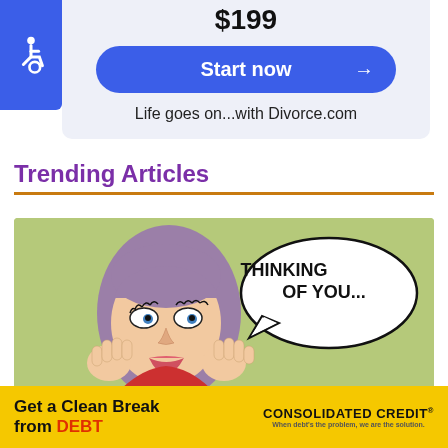$199
[Figure (other): Blue rounded 'Start now' button with arrow]
Life goes on...with Divorce.com
Trending Articles
[Figure (illustration): Pop art illustration of a woman with hands on face thinking, speech bubble saying 'THINKING OF YOU...' on a green background]
Should You Try To Get Your Ex Back? Here's What the...
[Figure (other): Yellow advertisement banner: Get a Clean Break from DEBT - Consolidated Credit]